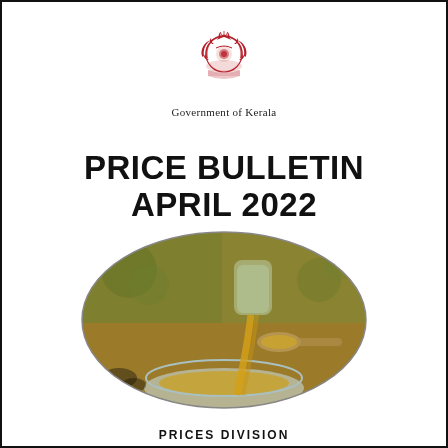[Figure (logo): Government of Kerala emblem / coat of arms in red]
Government of Kerala
PRICE BULLETIN APRIL 2022
[Figure (photo): Oval-cropped photo of golden oil being poured from a glass container into a spoon over a glass bowl, with blurred green leaves in background]
PRICES DIVISION